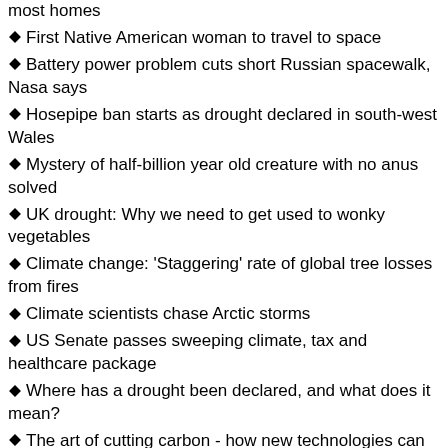most homes
First Native American woman to travel to space
Battery power problem cuts short Russian spacewalk, Nasa says
Hosepipe ban starts as drought declared in south-west Wales
Mystery of half-billion year old creature with no anus solved
UK drought: Why we need to get used to wonky vegetables
Climate change: 'Staggering' rate of global tree losses from fires
Climate scientists chase Arctic storms
US Senate passes sweeping climate, tax and healthcare package
Where has a drought been declared, and what does it mean?
The art of cutting carbon - how new technologies can help